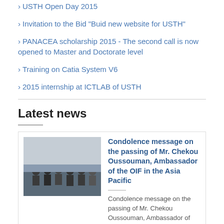USTH Open Day 2015
Invitation to the Bid "Buid new website for USTH"
PANACEA scholarship 2015 - The second call is now opened to Master and Doctorate level
Training on Catia System V6
2015 internship at ICTLAB of USTH
Latest news
[Figure (photo): Group photo of people standing in a room]
Condolence message on the passing of Mr. Chekou Oussouman, Ambassador of the OIF in the Asia Pacific
Condolence message on the passing of Mr. Chekou Oussouman, Ambassador of the OIF in the Asia Pacific
[Figure (photo): Indoor venue/lecture hall photo]
USTH welcomes Prof. Duncan Haldane - laureate of the Nobel Prize in Physics in 2016